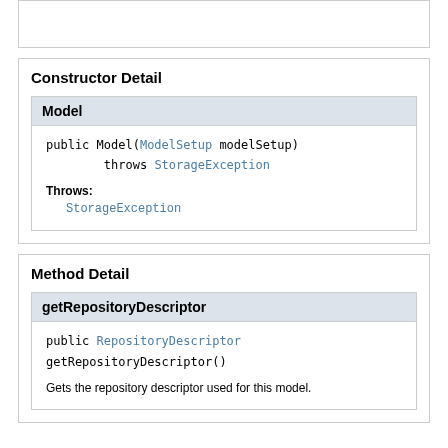Constructor Detail
Model
public Model(ModelSetup modelSetup)
        throws StorageException
Throws:
StorageException
Method Detail
getRepositoryDescriptor
public RepositoryDescriptor getRepositoryDescriptor()
Gets the repository descriptor used for this model.